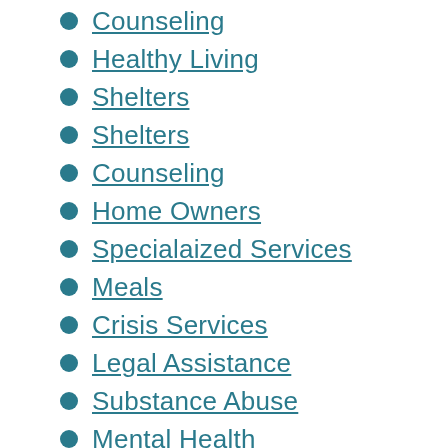Counseling
Healthy Living
Shelters
Shelters
Counseling
Home Owners
Specialaized Services
Meals
Crisis Services
Legal Assistance
Substance Abuse
Mental Health
Animals
Children & Families
WIC
Education
Food
CalFresh
Food Distribution